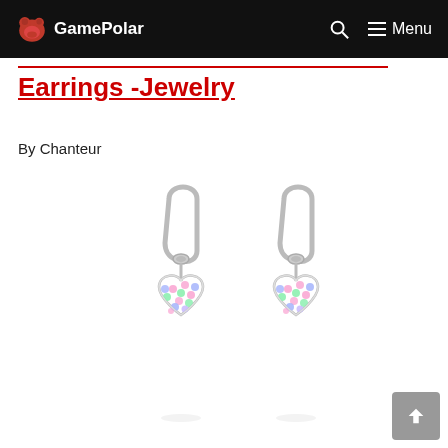GamePolar — Menu
Earrings -Jewelry
By Chanteur
[Figure (photo): Two silver heart-shaped dangle earrings with colorful multicolor crystal pavé stones (pink, green, blue), attached to silver lever-back clasps, shown on a white background.]